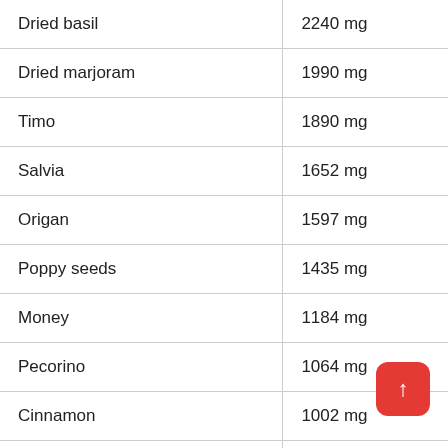| Item | Amount |
| --- | --- |
| Dried basil | 2240 mg |
| Dried marjoram | 1990 mg |
| Timo | 1890 mg |
| Salvia | 1652 mg |
| Origan | 1597 mg |
| Poppy seeds | 1435 mg |
| Money | 1184 mg |
| Pecorino | 1064 mg |
| Cinnamon | 1002 mg |
| Sesame seeds | 975 mg |